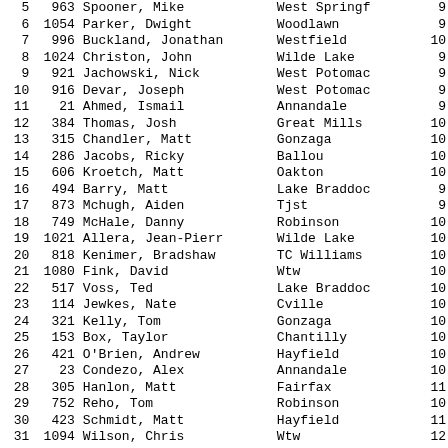| Place | Bib | Name | School | Gr |
| --- | --- | --- | --- | --- |
| 5 | 963 | Spooner, Mike | West Springf | 9 |
| 6 | 1054 | Parker, Dwight | Woodlawn | 9 |
| 7 | 996 | Buckland, Jonathan | Westfield | 10 |
| 8 | 1024 | Christon, John | Wilde Lake | 9 |
| 9 | 921 | Jachowski, Nick | West Potomac | 9 |
| 10 | 916 | Devar, Joseph | West Potomac | 9 |
| 11 | 21 | Ahmed, Ismail | Annandale | 9 |
| 12 | 384 | Thomas, Josh | Great Mills | 10 |
| 13 | 315 | Chandler, Matt | Gonzaga | 10 |
| 14 | 286 | Jacobs, Ricky | Ballou | 10 |
| 15 | 606 | Kroetch, Matt | Oakton | 10 |
| 16 | 494 | Barry, Matt | Lake Braddoc | 9 |
| 17 | 873 | Mchugh, Aiden | Tjst | 9 |
| 18 | 749 | McHale, Danny | Robinson | 10 |
| 19 | 1021 | Allera, Jean-Pierr | Wilde Lake | 10 |
| 20 | 818 | Kenimer, Bradshaw | TC Williams | 10 |
| 21 | 1080 | Fink, David | Wtw | 10 |
| 22 | 517 | Voss, Ted | Lake Braddoc | 10 |
| 23 | 114 | Jewkes, Nate | Cville | 10 |
| 24 | 321 | Kelly, Tom | Gonzaga | 10 |
| 25 | 153 | Box, Taylor | Chantilly | 10 |
| 26 | 421 | O'Brien, Andrew | Hayfield | 10 |
| 27 | 23 | Condezo, Alex | Annandale | 10 |
| 28 | 305 | Hanlon, Matt | Fairfax | 11 |
| 29 | 752 | Reho, Tom | Robinson | 10 |
| 30 | 423 | Schmidt, Matt | Hayfield | 11 |
| 31 | 1094 | Wilson, Chris | Wtw | 12 |
| 32 | 107 | Austin, Brian | Cville | 10 |
| 33 | 213 | Castillo, David | Edison | 11 |
| 34 | 220 | O'Shea, James | Edison | 12 |